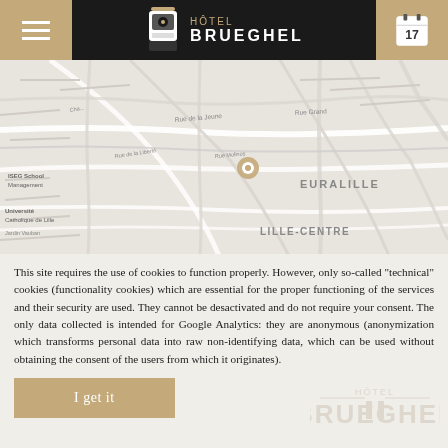Hôtel Brueghel
[Figure (map): Street map of Lille city center showing EURALILLE and LILLE-CENTRE areas with a location marker pin]
This site requires the use of cookies to function properly. However, only so-called "technical" cookies (functionality cookies) which are essential for the proper functioning of the services and their security are used. They cannot be desactivated and do not require your consent. The only data collected is intended for Google Analytics: they are anonymous (anonymization which transforms personal data into raw non-identifying data, which can be used without obtaining the consent of the users from which it originates).
I get it